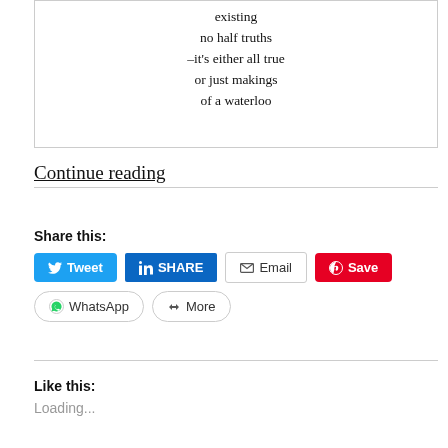existing
no half truths
–it's either all true
or just makings
of a waterloo
Continue reading
Share this:
[Figure (infographic): Social sharing buttons: Tweet (Twitter, blue), SHARE (LinkedIn, dark blue), Email (white/grey border), Save (Pinterest, red), WhatsApp (rounded border), More (rounded border)]
Like this:
Loading...